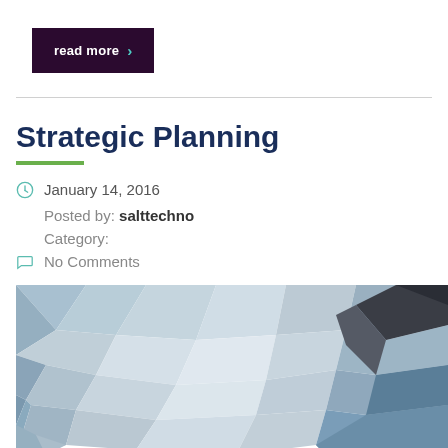[Figure (other): Dark purple 'read more' button with teal chevron arrow]
Strategic Planning
January 14, 2016
Posted by: salttechno
Category:
No Comments
[Figure (illustration): Low-poly geometric abstract background image with blue, grey, and dark tones]